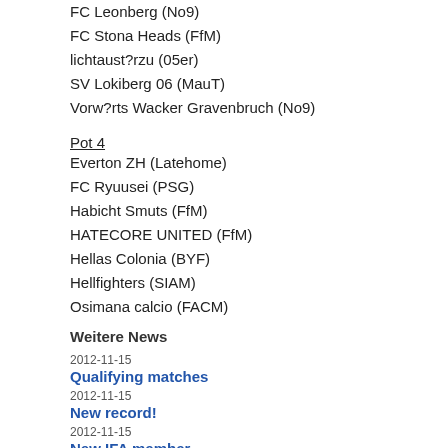FC Leonberg (No9)
FC Stona Heads (FfM)
lichtaust?rzu (05er)
SV Lokiberg 06 (MauT)
Vorw?rts Wacker Gravenbruch (No9)
Pot 4
Everton ZH (Latehome)
FC Ryuusei (PSG)
Habicht Smuts (FfM)
HATECORE UNITED (FfM)
Hellas Colonia (BYF)
Hellfighters (SIAM)
Osimana calcio (FACM)
TSV Breiholz (St. Pauli)
The result of the draw and the schedule of the group stage can soon be
Good luck to everyone!
Weitere News
2012-11-15
Qualifying matches
2012-11-15
New record!
2012-11-15
New IFA member
2012-08-02